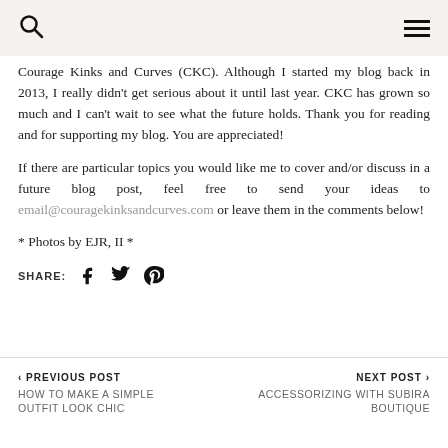Search | Menu
Courage Kinks and Curves (CKC). Although I started my blog back in 2013, I really didn't get serious about it until last year. CKC has grown so much and I can't wait to see what the future holds. Thank you for reading and for supporting my blog. You are appreciated!

If there are particular topics you would like me to cover and/or discuss in a future blog post, feel free to send your ideas to email@couragekinksandcurves.com or leave them in the comments below!
* Photos by EJR, II *
SHARE: [facebook] [twitter] [pinterest]
< PREVIOUS POST
HOW TO MAKE A SIMPLE OUTFIT LOOK CHIC
NEXT POST >
ACCESSORIZING WITH SUBIRA BOUTIQUE